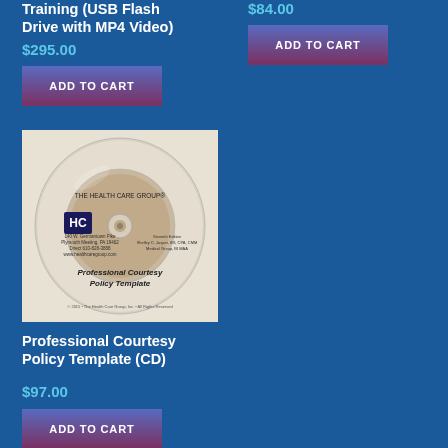Training (USB Flash Drive with MP4 Video)
$295.00
ADD TO CART
$84.00
ADD TO CART
[Figure (photo): CD disk with 'THE HEALTH CARE GROUP' label and 'Professional Courtesy Policy Template' text]
Professional Courtesy Policy Template (CD)
$97.00
ADD TO CART